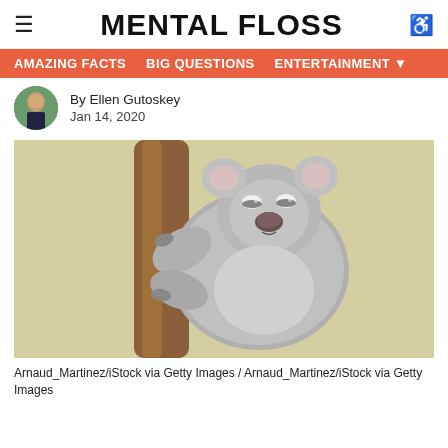≡  MENTAL FLOSS  ♿
AMAZING FACTS   BIG QUESTIONS   ENTERTAINMENT ▾
By Ellen Gutoskey
Jan 14, 2020
[Figure (photo): A koala clinging to a brown tree branch, eyes partially closed, with fluffy grey fur. Background is pale yellow-green.]
Arnaud_Martinez/iStock via Getty Images / Arnaud_Martinez/iStock via Getty Images